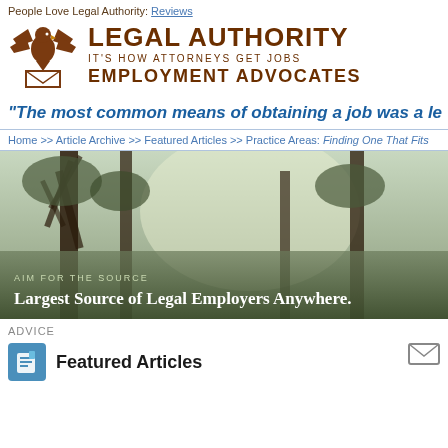People Love Legal Authority: Reviews
[Figure (logo): Legal Authority eagle logo with envelope, brand name LEGAL AUTHORITY, tagline IT'S HOW ATTORNEYS GET JOBS, EMPLOYMENT ADVOCATES]
"The most common means of obtaining a job was a le
Home >> Article Archive >> Featured Articles >> Practice Areas: Finding One That Fits
[Figure (photo): Hero image of forest trees with text overlay: AIM FOR THE SOURCE - Largest Source of Legal Employers Anywhere.]
ADVICE
Featured Articles